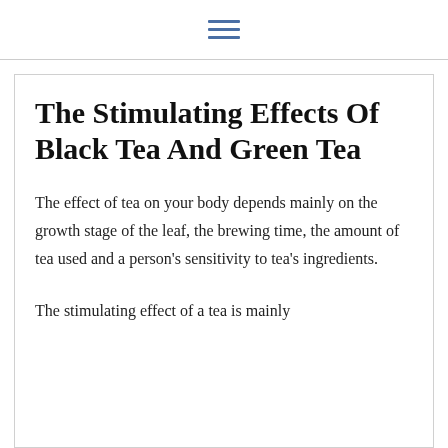The Stimulating Effects Of Black Tea And Green Tea
The effect of tea on your body depends mainly on the growth stage of the leaf, the brewing time, the amount of tea used and a person’s sensitivity to tea’s ingredients.
The stimulating effect of a tea is mainly due to...